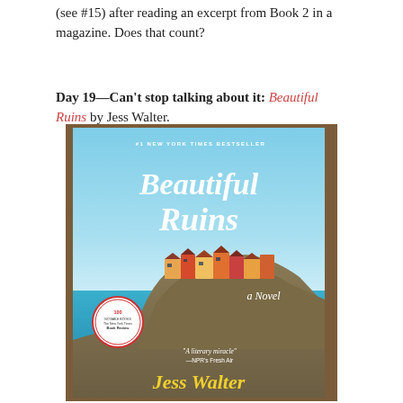(see #15) after reading an excerpt from Book 2 in a magazine. Does that count?
Day 19—Can't stop talking about it: Beautiful Ruins by Jess Walter.
[Figure (photo): Book cover of 'Beautiful Ruins' by Jess Walter. Shows the book photographed against a wooden surface. The cover features the title 'Beautiful Ruins' in large white script font over an image of a colorful Italian coastal village (Cinque Terre) with turquoise water. Text reads '#1 New York Times Bestseller', 'a Novel', a circular medallion reading '100 Notable Books New York Times Book Review', a quote 'A literary miracle —NPR's Fresh Air', and the author name 'Jess Walter' at the bottom in yellow.]